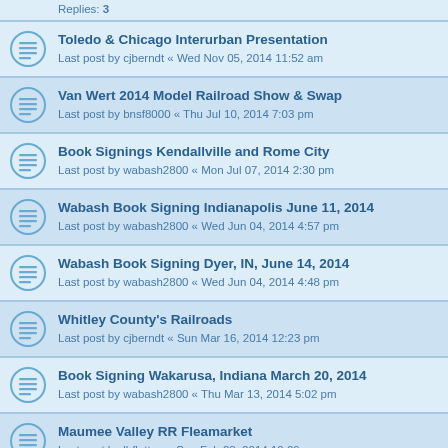Replies: 3
Toledo & Chicago Interurban Presentation
Last post by cjberndt « Wed Nov 05, 2014 11:52 am
Van Wert 2014 Model Railroad Show & Swap
Last post by bnsf8000 « Thu Jul 10, 2014 7:03 pm
Book Signings Kendallville and Rome City
Last post by wabash2800 « Mon Jul 07, 2014 2:30 pm
Wabash Book Signing Indianapolis June 11, 2014
Last post by wabash2800 « Wed Jun 04, 2014 4:57 pm
Wabash Book Signing Dyer, IN, June 14, 2014
Last post by wabash2800 « Wed Jun 04, 2014 4:48 pm
Whitley County's Railroads
Last post by cjberndt « Sun Mar 16, 2014 12:23 pm
Book Signing Wakarusa, Indiana March 20, 2014
Last post by wabash2800 « Thu Mar 13, 2014 5:02 pm
Maumee Valley RR Fleamarket
Last post by lbflattop « Sun Feb 23, 2014 10:09 am
Railroad Celebration 2014, Ft. Wayne
Last post by cjberndt « Wed Jan 22, 2014 9:45 pm
Southern Railway in Indiana
Last post by cjberndt « Sun Jan 12, 2014 4:18 pm